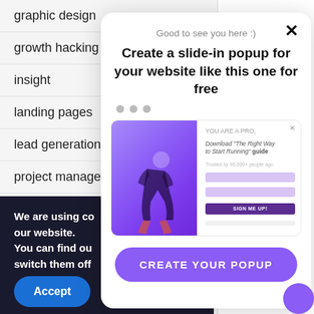graphic design
growth hacking
insight
landing pages
lead generation
project management
saas
sales
We are using co our website. You can find ou switch them off
Accept
[Figure (screenshot): Popup modal with headline 'Create a slide-in popup for your website like this one for free', a preview image of a fitness popup, and a 'CREATE YOUR POPUP' button]